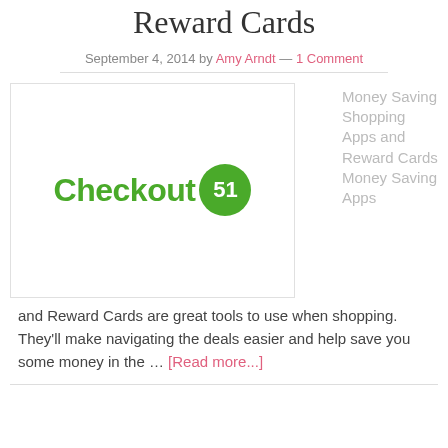Reward Cards
September 4, 2014 by Amy Arndt — 1 Comment
[Figure (logo): Checkout 51 logo — green text 'Checkout' with a green circle badge showing '51']
Money Saving Shopping Apps and Reward Cards Money Saving Apps and Reward Cards are great tools to use when shopping. They'll make navigating the deals easier and help save you some money in the … [Read more...]